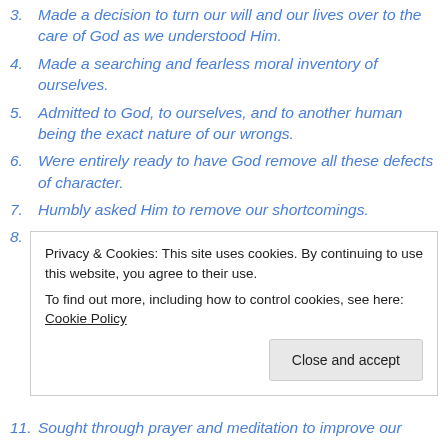3. Made a decision to turn our will and our lives over to the care of God as we understood Him.
4. Made a searching and fearless moral inventory of ourselves.
5. Admitted to God, to ourselves, and to another human being the exact nature of our wrongs.
6. Were entirely ready to have God remove all these defects of character.
7. Humbly asked Him to remove our shortcomings.
8. Made a list of all persons we had harmed, and became willing to make amends to them all.
Privacy & Cookies: This site uses cookies. By continuing to use this website, you agree to their use.
To find out more, including how to control cookies, see here: Cookie Policy
11. Sought through prayer and meditation to improve our